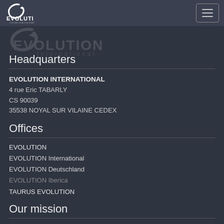EVOLUTION International — Navigation bar with logo and hamburger menu
[Figure (logo): Evolution International logo watermark (large, semi-transparent) with curved arrow graphic above EVOLUTION International text]
Headquarters
EVOLUTION INTERNATIONAL
4 rue Eric TABARLY
CS 90039
35538 NOYAL SUR VILAINE CEDEX
Offices
EVOLUTION
EVOLUTION International
EVOLUTION Deutschland
EVOLUTION Iberica
TAURUS EVOLUTION
Our mission
EVOLUTION International is the leading French exporter of cattle and goats genetics, a supplier of genetic advance for more than 60 years.